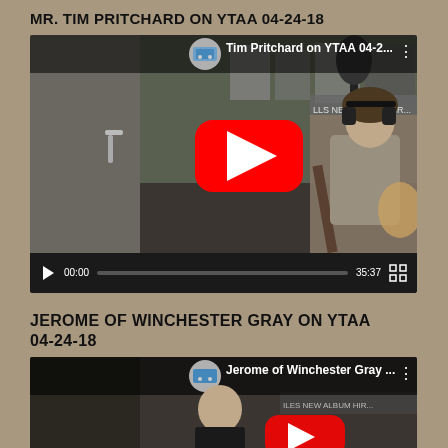MR. TIM PRITCHARD ON YTAA 04-24-18
[Figure (screenshot): YouTube video embed showing Tim Pritchard on YTAA 04-2... with a man playing guitar in a radio studio, YouTube play button overlay, video duration 35:37, timestamp 00:00]
JEROME OF WINCHESTER GRAY ON YTAA 04-24-18
[Figure (screenshot): YouTube video embed showing Jerome of Winchester Gray ... with a man in a radio studio, YouTube play button overlay partially visible]